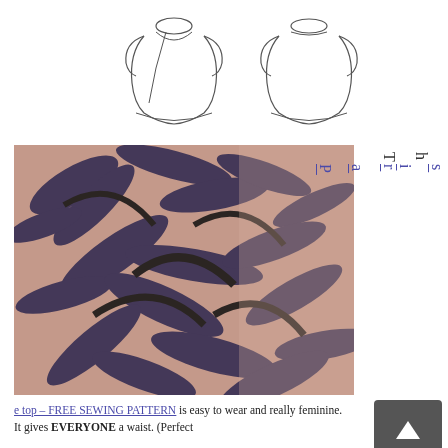[Figure (illustration): Two fashion illustration line drawings of a top - front and back views showing a wrap/tie style top]
[Figure (photo): Close-up photo of a tropical print fabric top with pink/mauve background and dark leaf pattern]
The Parisien
e top – FREE SEWING PATTERN is easy to wear and really feminine. It gives EVERYONE a waist. (Perfect